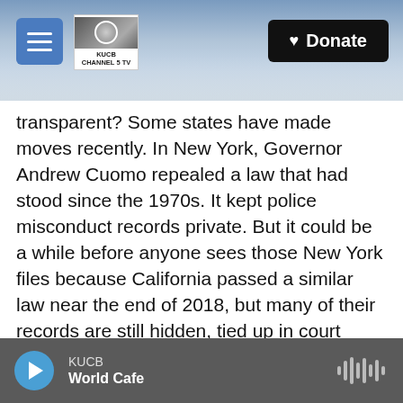[Figure (screenshot): Top navigation bar with mountain/sky background image, hamburger menu button (blue), KUCB Channel 5 TV logo, and black Donate button with heart icon]
transparent? Some states have made moves recently. In New York, Governor Andrew Cuomo repealed a law that had stood since the 1970s. It kept police misconduct records private. But it could be a while before anyone sees those New York files because California passed a similar law near the end of 2018, but many of their records are still hidden, tied up in court challenges. Sukey Lewis with member station KQED in San Francisco is part of a team that's been reporting on the California records.
Hey, Sukey.
KUCB World Cafe